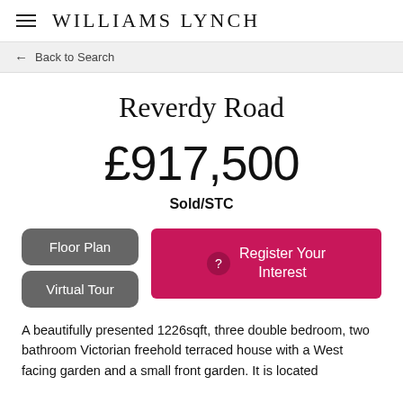WILLIAMS LYNCH
Back to Search
Reverdy Road
£917,500
Sold/STC
Floor Plan
Virtual Tour
Register Your Interest
A beautifully presented 1226sqft, three double bedroom, two bathroom Victorian freehold terraced house with a West facing garden and a small front garden. It is located